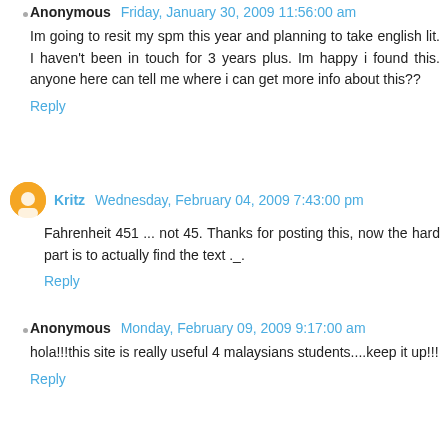Anonymous   Friday, January 30, 2009 11:56:00 am
Im going to resit my spm this year and planning to take english lit. I haven't been in touch for 3 years plus. Im happy i found this. anyone here can tell me where i can get more info about this??
Reply
Kritz   Wednesday, February 04, 2009 7:43:00 pm
Fahrenheit 451 ... not 45. Thanks for posting this, now the hard part is to actually find the text ._.
Reply
Anonymous   Monday, February 09, 2009 9:17:00 am
hola!!!this site is really useful 4 malaysians students....keep it up!!!
Reply